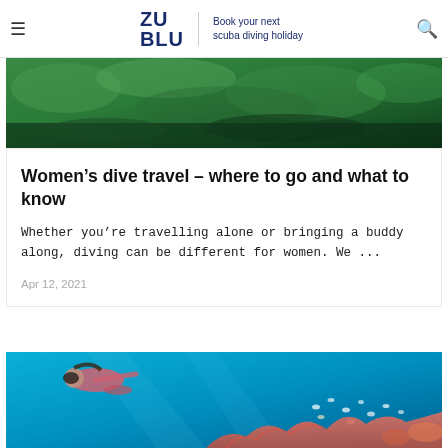ZU BLU | Book your next scuba diving holiday
[Figure (photo): Underwater/nature scene showing coral and greenery from above, cropped top image strip]
Women's dive travel – where to go and what to know
Whether you're travelling alone or bringing a buddy along, diving can be different for women. We ...
Apr 12, 2021
[Figure (photo): Woman in pink swimwear and diving mask swimming underwater over coral reef with fish in clear blue water]